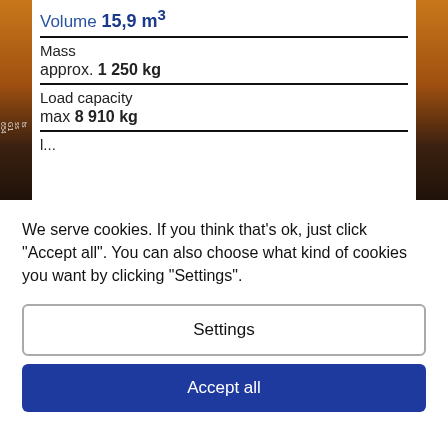Volume 15,9 m³
Mass
approx. 1 250 kg
Load capacity
max 8 910 kg
l...
We serve cookies. If you think that's ok, just click "Accept all". You can also choose what kind of cookies you want by clicking "Settings".
Settings
Accept all